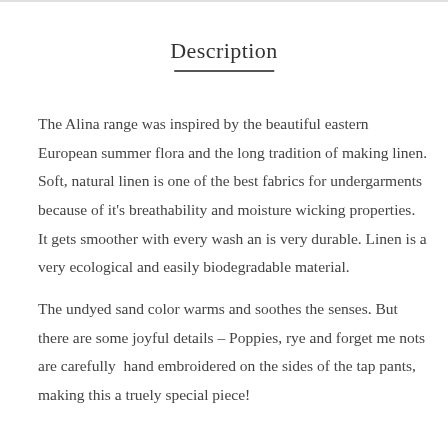Description
The Alina range was inspired by the beautiful eastern European summer flora and the long tradition of making linen. Soft, natural linen is one of the best fabrics for undergarments because of it’s breathability and moisture wicking properties. It gets smoother with every wash an is very durable. Linen is a very ecological and easily biodegradable material.
The undyed sand color warms and soothes the senses. But there are some joyful details – Poppies, rye and forget me nots are carefully  hand embroidered on the sides of the tap pants, making this a truely special piece!